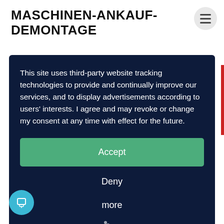MASCHINEN-ANKAUF-DEMONTAGE
This site uses third-party website tracking technologies to provide and continually improve our services, and to display advertisements according to users' interests. I agree and may revoke or change my consent at any time with effect for the future.
Accept
Deny
more
Powered by usercentrics